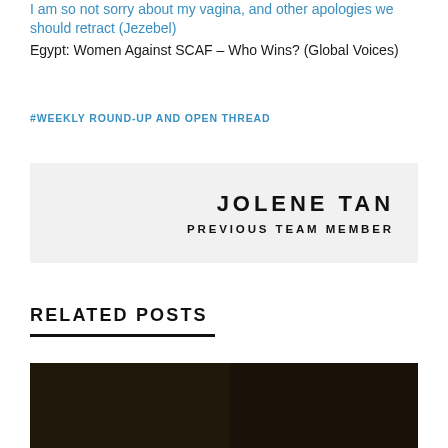I am so not sorry about my vagina, and other apologies we should retract (Jezebel)
Egypt: Women Against SCAF – Who Wins? (Global Voices)
#WEEKLY ROUND-UP AND OPEN THREAD
JOLENE TAN
PREVIOUS TEAM MEMBER
RELATED POSTS
[Figure (photo): Dark image thumbnail for a related post]